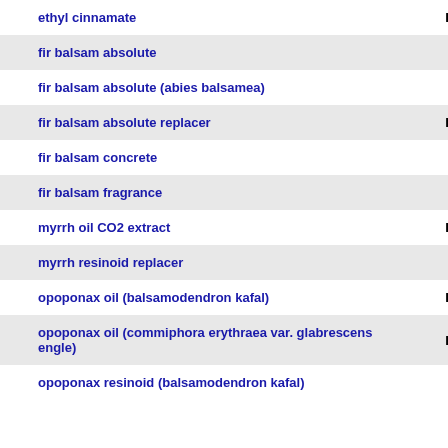| Name | Code |
| --- | --- |
| ethyl cinnamate | FL/FR |
| fir balsam absolute | FR |
| fir balsam absolute (abies balsamea) | FR |
| fir balsam absolute replacer | FL/FR |
| fir balsam concrete | FR |
| fir balsam fragrance | FR |
| myrrh oil CO2 extract | FL/FR |
| myrrh resinoid replacer | FR |
| opoponax oil (balsamodendron kafal) | FL/FR |
| opoponax oil (commiphora erythraea var. glabrescens engle) | FL/FR |
| opoponax resinoid (balsamodendron kafal) | FR |